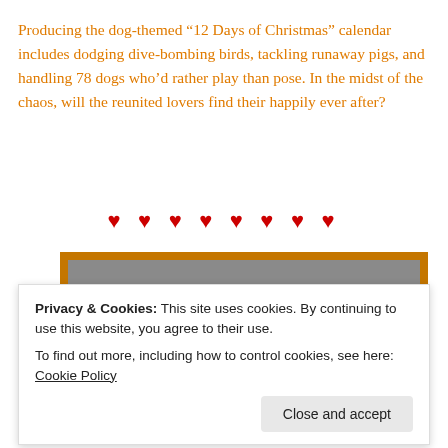Producing the dog-themed “12 Days of Christmas” calendar includes dodging dive-bombing birds, tackling runaway pigs, and handling 78 dogs who’d rather play than pose. In the midst of the chaos, will the reunited lovers find their happily ever after?
♥ ♥ ♥ ♥ ♥ ♥ ♥ ♥
[Figure (photo): Book cover partially visible with orange border and gray background, showing italic review text: '...delightfully interweaves humor, emotion, and that little bit of magic necessary']
Privacy & Cookies: This site uses cookies. By continuing to use this website, you agree to their use.
To find out more, including how to control cookies, see here: Cookie Policy